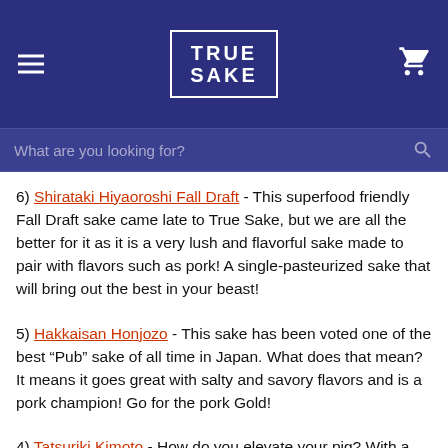TRUE SAKE
6) Shirataki Hiyaoroshi Fall Draft - This superfood friendly Fall Draft sake came late to True Sake, but we are all the better for it as it is a very lush and flavorful sake made to pair with flavors such as pork! A single-pasteurized sake that will bring out the best in your beast!
5) Hakkaisan Honjozo - This sake has been voted one of the best “Pub” sake of all time in Japan. What does that mean? It means it goes great with salty and savory flavors and is a pork champion! Go for the pork Gold!
4) Tatsuriki Kimoto - How do you elevate your pig? With a higher